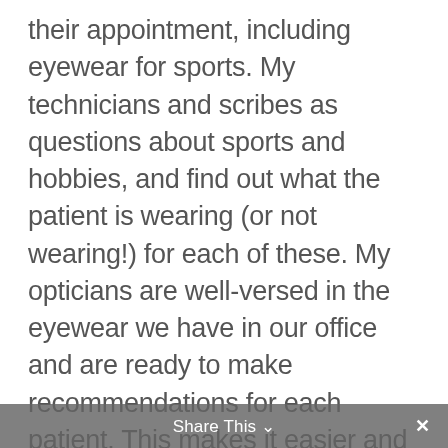their appointment, including eyewear for sports. My technicians and scribes as questions about sports and hobbies, and find out what the patient is wearing (or not wearing!) for each of these. My opticians are well-versed in the eyewear we have in our office and are ready to make recommendations for each patient. This makes it easier and less time-consuming for me to prescribe eyewear to the patient for the sport needs they may have. 3. Be up to date! Do you know the difference between ASTM F803-19 and ASTM F3164-19? Does your optical staff know there are different standards for eye protection for different sports? Knowing the standards and regulations (which are
Share This ∨  ×